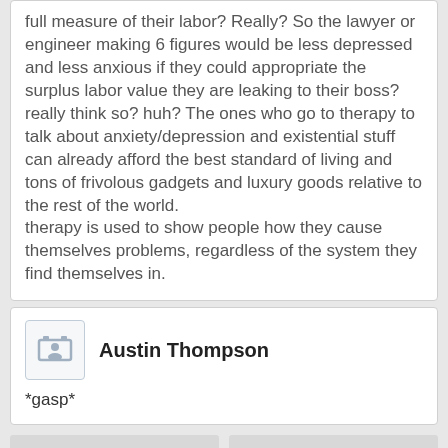full measure of their labor? Really? So the lawyer or engineer making 6 figures would be less depressed and less anxious if they could appropriate the surplus labor value they are leaking to their boss? really think so? huh? The ones who go to therapy to talk about anxiety/depression and existential stuff can already afford the best standard of living and tons of frivolous gadgets and luxury goods relative to the rest of the world.
therapy is used to show people how they cause themselves problems, regardless of the system they find themselves in.
Austin Thompson
*gasp*
ANSWER THIS THREAD
START NEW THREAD
Last threads